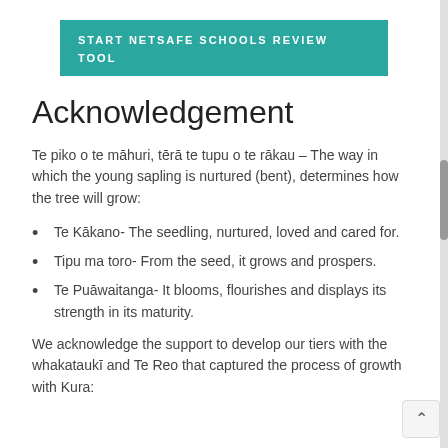START NETSAFE SCHOOLS REVIEW TOOL
Acknowledgement
Te piko o te māhuri, tērā te tupu o te rākau – The way in which the young sapling is nurtured (bent), determines how the tree will grow:
Te Kākano- The seedling, nurtured, loved and cared for.
Tipu ma toro- From the seed, it grows and prospers.
Te Puāwaitanga- It blooms, flourishes and displays its strength in its maturity.
We acknowledge the support to develop our tiers with the whakataukī and Te Reo that captured the process of growth with Kura: